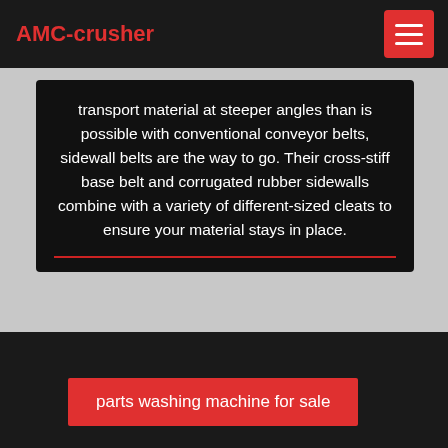AMC-crusher
transport material at steeper angles than is possible with conventional conveyor belts, sidewall belts are the way to go. Their cross-stiff base belt and corrugated rubber sidewalls combine with a variety of different-sized cleats to ensure your material stays in place.
parts washing machine for sale